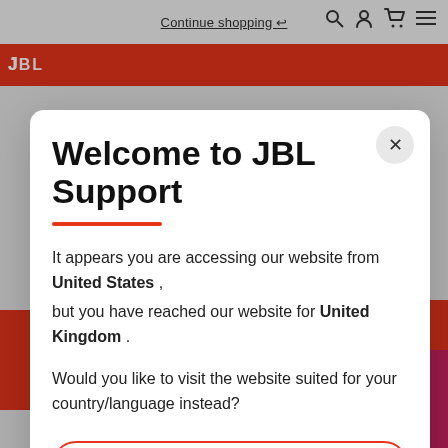[Figure (screenshot): JBL website navigation bar with Continue shopping link, search icon, user icon, cart icon, and hamburger menu. JBL logo in red square on orange navigation bar.]
Welcome to JBL Support
It appears you are accessing our website from United States , but you have reached our website for United Kingdom .
Would you like to visit the website suited for your country/language instead?
Stay on United Kingdom (English)
Take me to United States (English)